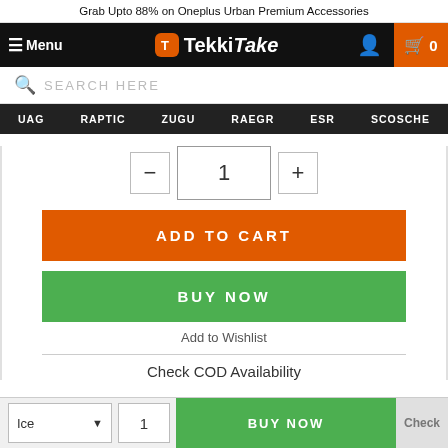Grab Upto 88% on Oneplus Urban Premium Accessories
[Figure (screenshot): TekkiTake website navigation bar with hamburger menu, logo, user icon, and cart icon showing 0 items]
SEARCH HERE
UAG   RAPTIC   ZUGU   RAEGR   ESR   SCOSCHE
- 1 +
ADD TO CART
BUY NOW
Add to Wishlist
Check COD Availability
Ice  ˅   1   BUY NOW   Check